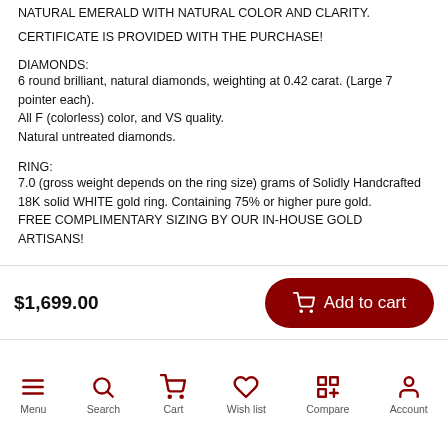NATURAL EMERALD WITH NATURAL COLOR AND CLARITY.
CERTIFICATE IS PROVIDED WITH THE PURCHASE!
DIAMONDS:
6 round brilliant, natural diamonds, weighting at 0.42 carat. (Large 7 pointer each).
All F (colorless) color, and VS quality.
Natural untreated diamonds.
RING:
7.0 (gross weight depends on the ring size) grams of Solidly Handcrafted 18K solid WHITE gold ring. Containing 75% or higher pure gold.
FREE COMPLIMENTARY SIZING BY OUR IN-HOUSE GOLD ARTISANS!
$1,699.00
Add to cart
Menu  Search  Cart  Wish list  Compare  Account